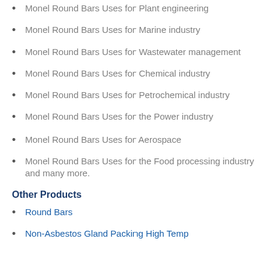Monel Round Bars Uses for Plant engineering
Monel Round Bars Uses for Marine industry
Monel Round Bars Uses for Wastewater management
Monel Round Bars Uses for Chemical industry
Monel Round Bars Uses for Petrochemical industry
Monel Round Bars Uses for the Power industry
Monel Round Bars Uses for Aerospace
Monel Round Bars Uses for the Food processing industry and many more.
Other Products
Round Bars
Non-Asbestos Gland Packing High Temp